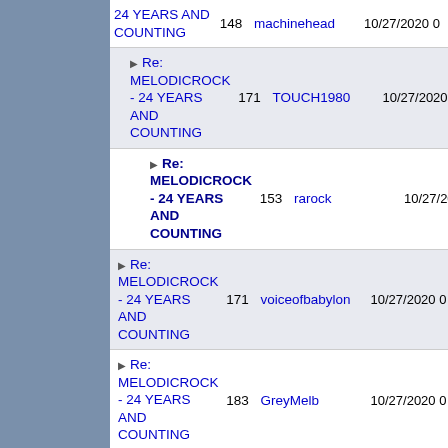| Title | Replies | Author | Date |
| --- | --- | --- | --- |
| 24 YEARS AND COUNTING | 148 | machinehead | 10/27/2020 |
| ▶ Re: MELODICROCK - 24 YEARS AND COUNTING | 171 | TOUCH1980 | 10/27/2020 |
| ▶ Re: MELODICROCK - 24 YEARS AND COUNTING (bold) | 153 | rarock | 10/27/2020 |
| ▶ Re: MELODICROCK - 24 YEARS AND COUNTING | 171 | voiceofbabylon | 10/27/2020 |
| ▶ Re: MELODICROCK - 24 YEARS AND COUNTING | 183 | GreyMelb | 10/27/2020 |
| ▶ Re: MELODICROCK - 24 YEARS AND COUNTING | 177 | sören | 10/27/2020 |
| ▶ Re: MELODICROCK - 24 YEARS AND COUNTING | 213 | Andrew | 10/27/2020 |
| ▶ Re: MELODICROCK - 24 YEARS AND COUNTING | 160 | OzzMosiz | 10/27/2020 |
| ▶ Re: MELODICROCK - |  |  |  |